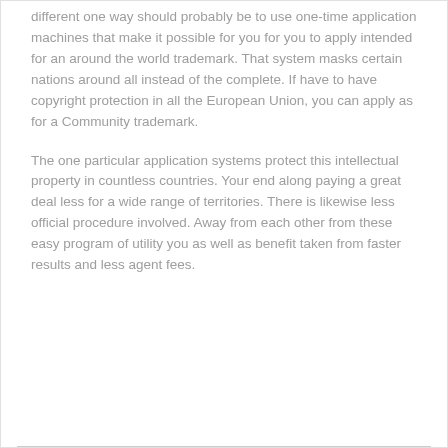different one way should probably be to use one-time application machines that make it possible for you for you to apply intended for an around the world trademark. That system masks certain nations around all instead of the complete. If have to have copyright protection in all the European Union, you can apply as for a Community trademark.
The one particular application systems protect this intellectual property in countless countries. Your end along paying a great deal less for a wide range of territories. There is likewise less official procedure involved. Away from each other from these easy program of utility you as well as benefit taken from faster results and less agent fees.